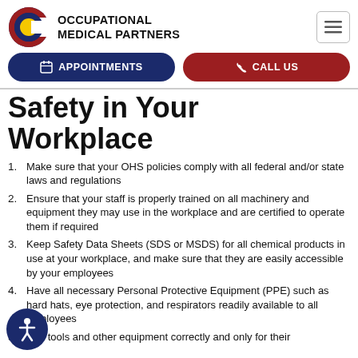[Figure (logo): Colorado C logo with red/yellow/blue colors next to 'OCCUPATIONAL MEDICAL PARTNERS' text]
OCCUPATIONAL MEDICAL PARTNERS
APPOINTMENTS  CALL US
Safety in Your Workplace
Make sure that your OHS policies comply with all federal and/or state laws and regulations
Ensure that your staff is properly trained on all machinery and equipment they may use in the workplace and are certified to operate them if required
Keep Safety Data Sheets (SDS or MSDS) for all chemical products in use at your workplace, and make sure that they are easily accessible by your employees
Have all necessary Personal Protective Equipment (PPE) such as hard hats, eye protection, and respirators readily available to all employees
Use tools and other equipment correctly and only for their